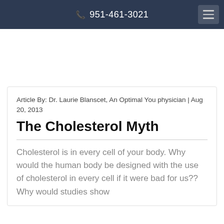📞 951-461-3021
Article By: Dr. Laurie Blanscet, An Optimal You physician | Aug 20, 2013
The Cholesterol Myth
Cholesterol is in every cell of your body. Why would the human body be designed with the use of cholesterol in every cell if it were bad for us?? Why would studies show